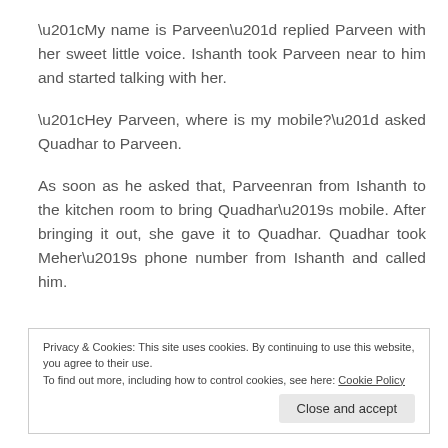“My name is Parveen” replied Parveen with her sweet little voice. Ishanth took Parveen near to him and started talking with her.
“Hey Parveen, where is my mobile?” asked Quadhar to Parveen.
As soon as he asked that, Parveenran from Ishanth to the kitchen room to bring Quadhar’s mobile. After bringing it out, she gave it to Quadhar. Quadhar took Meher’s phone number from Ishanth and called him.
Privacy & Cookies: This site uses cookies. By continuing to use this website, you agree to their use.
To find out more, including how to control cookies, see here: Cookie Policy
Close and accept